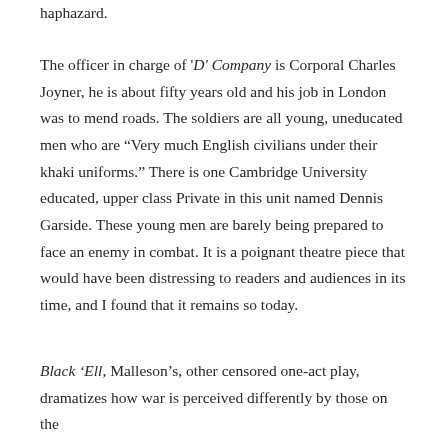haphazard.
The officer in charge of ‘D’ Company is Corporal Charles Joyner, he is about fifty years old and his job in London was to mend roads. The soldiers are all young, uneducated men who are “Very much English civilians under their khaki uniforms.” There is one Cambridge University educated, upper class Private in this unit named Dennis Garside. These young men are barely being prepared to face an enemy in combat. It is a poignant theatre piece that would have been distressing to readers and audiences in its time, and I found that it remains so today.
Black ‘Ell, Malleson’s, other censored one-act play, dramatizes how war is perceived differently by those on the